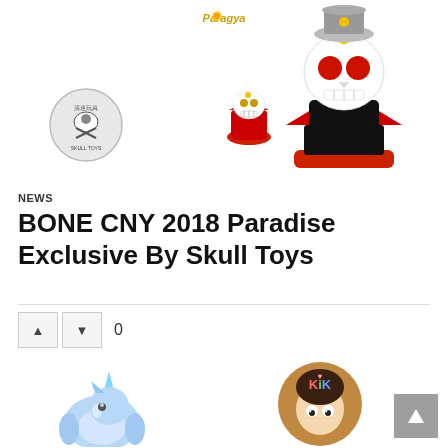[Figure (photo): Product photo of BONE CNY 2018 skull toy figures — a large skull character in a red and black throne/suit with gold accents in the center, flanked by two smaller versions of the same character on each side, and a round badge/logo on the far left. A 'Paragya' logo appears at the top.]
NEWS
BONE CNY 2018 Paradise Exclusive By Skull Toys
[Figure (other): Voting buttons (up and down arrows) with a count of 0]
[Figure (photo): Blue glittery unicorn/bear toy figure (bottom left thumbnail)]
[Figure (photo): Circular brown avatar with 'KiK' text and a cute girl illustration (bottom right thumbnail)]